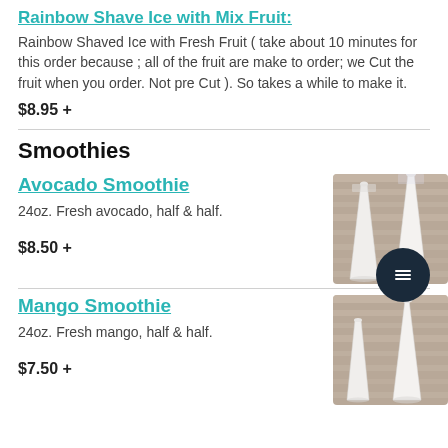Rainbow Shave Ice with Mix Fruit:
Rainbow Shaved Ice with Fresh Fruit ( take about 10 minutes for this order because ; all of the fruit are make to order; we Cut the fruit when you order. Not pre Cut ). So takes a while to make it.
$8.95 +
Smoothies
Avocado Smoothie
24oz. Fresh avocado, half & half.
$8.50 +
[Figure (photo): Two tall white smoothie cups on a wooden background]
Mango Smoothie
24oz. Fresh mango, half & half.
$7.50 +
[Figure (photo): Two smoothie cups on a wooden background]